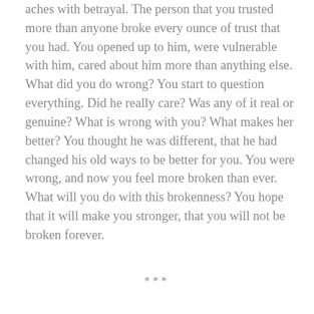aches with betrayal. The person that you trusted more than anyone broke every ounce of trust that you had. You opened up to him, were vulnerable with him, cared about him more than anything else. What did you do wrong? You start to question everything. Did he really care? Was any of it real or genuine? What is wrong with you? What makes her better? You thought he was different, that he had changed his old ways to be better for you. You were wrong, and now you feel more broken than ever. What will you do with this brokenness? You hope that it will make you stronger, that you will not be broken forever.
***